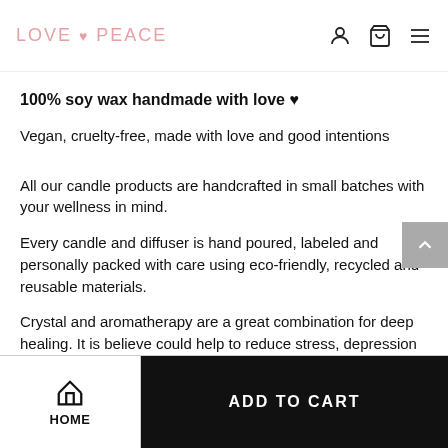LOVE ♥ PEACE
100% soy wax handmade with love ♥
Vegan, cruelty-free, made with love and good intentions
All our candle products are handcrafted in small batches with your wellness in mind.
Every candle and diffuser is hand poured, labeled and personally packed with care using eco-friendly, recycled and reusable materials.
Crystal and aromatherapy are a great combination for deep healing. It is believe could help to reduce stress, depression and imsomnia.
HOME | ADD TO CART